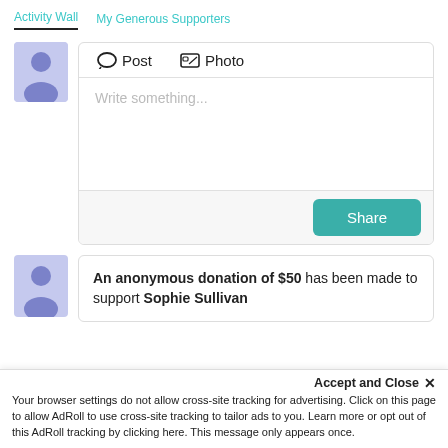Activity Wall   My Generous Supporters
[Figure (screenshot): User avatar placeholder icon - light blue/purple square with person silhouette]
[Figure (screenshot): Post/Photo tab card with write something textarea and Share button]
[Figure (screenshot): User avatar placeholder icon - light blue/purple square with person silhouette]
An anonymous donation of $50 has been made to support Sophie Sullivan
Accept and Close ×
Your browser settings do not allow cross-site tracking for advertising. Click on this page to allow AdRoll to use cross-site tracking to tailor ads to you. Learn more or opt out of this AdRoll tracking by clicking here. This message only appears once.